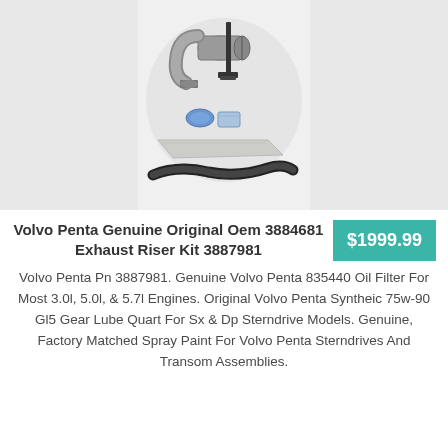[Figure (photo): Product photo of Volvo Penta exhaust riser kit components including hose, elbow fitting, gaskets, and mounting bracket, displayed against a light gray background with circular overlay]
Volvo Penta Genuine Original Oem 3884681 Exhaust Riser Kit 3887981
$1999.99
Volvo Penta Pn 3887981. Genuine Volvo Penta 835440 Oil Filter For Most 3.0l, 5.0l, & 5.7l Engines. Original Volvo Penta Syntheic 75w-90 Gl5 Gear Lube Quart For Sx & Dp Sterndrive Models. Genuine, Factory Matched Spray Paint For Volvo Penta Sterndrives And Transom Assemblies.